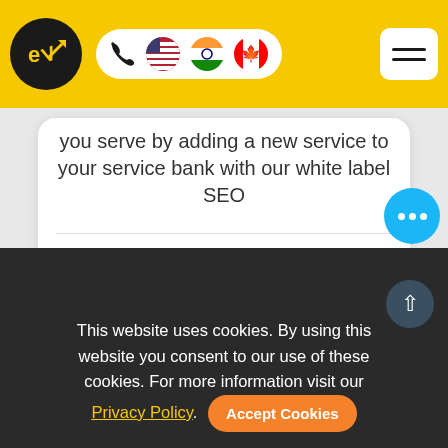eV logo, phone, US/India/Canada flags, hamburger menu
you serve by adding a new service to your service bank with our white label SEO
Learn More >
This website uses cookies. By using this website you consent to our use of these cookies. For more information visit our Privacy Policy. Accept Cookies